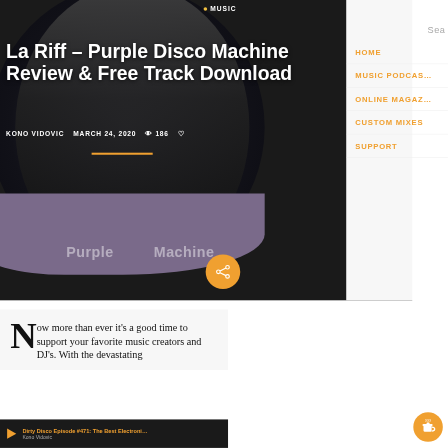MUSIC
La Riff – Purple Disco Machine Review & Free Track Download
KONO VIDOVIC   MARCH 24, 2020   👁 186
Purple Disco Machine
HOME
MUSIC PODCASTS
ONLINE MAGAZINE
CUSTOM MIXES
SUPPORT
Now more than ever it's a good time to support your favorite music creators and DJ's. With the devastating
Dirty Disco Episode #471: The Best Electronic…
Kono Vidovic